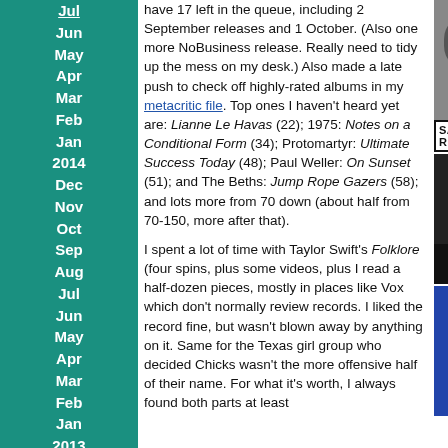Jul
Jun
May
Apr
Mar
Feb
Jan
2014
Dec
Nov
Oct
Sep
Aug
Jul
Jun
May
Apr
Mar
Feb
Jan
2013
Dec
Nov
Oct
Sep
have 17 left in the queue, including 2 September releases and 1 October. (Also one more NoBusiness release. Really need to tidy up the mess on my desk.) Also made a late push to check off highly-rated albums in my metacritic file. Top ones I haven't heard yet are: Lianne Le Havas (22); 1975: Notes on a Conditional Form (34); Protomartyr: Ultimate Success Today (48); Paul Weller: On Sunset (51); and The Beths: Jump Rope Gazers (58); and lots more from 70 down (about half from 70-150, more after that).
I spent a lot of time with Taylor Swift's Folklore (four spins, plus some videos, plus I read a half-dozen pieces, mostly in places like Vox which don't normally review records. I liked the record fine, but wasn't blown away by anything on it. Same for the Texas girl group who decided Chicks wasn't the more offensive half of their name. For what it's worth, I always found both parts at least
[Figure (photo): Photo of a man in dark clothing, upper body, against a neutral background]
SAM RIVER
[Figure (photo): Dark photo showing a stage or performance area with lighting]
[Figure (photo): Photo of a musician performing, wearing a white cap, against a blue background]